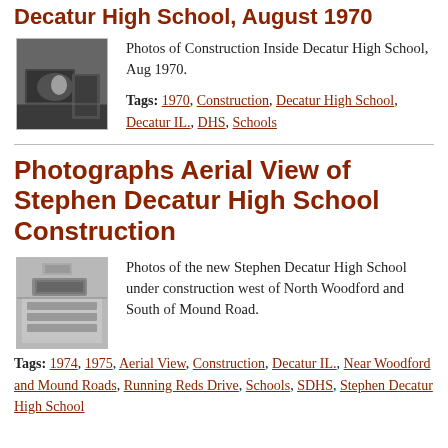Decatur High School, August 1970
[Figure (photo): Black and white photo of construction inside Decatur High School, Aug 1970]
Photos of Construction Inside Decatur High School, Aug 1970.
Tags: 1970, Construction, Decatur High School, Decatur IL., DHS, Schools
Photographs Aerial View of Stephen Decatur High School Construction
[Figure (photo): Black and white aerial photo of Stephen Decatur High School under construction west of North Woodford and South of Mound Road]
Photos of the new Stephen Decatur High School under construction west of North Woodford and South of Mound Road.
Tags: 1974, 1975, Aerial View, Construction, Decatur IL., Near Woodford and Mound Roads, Running Reds Drive, Schools, SDHS, Stephen Decatur High School